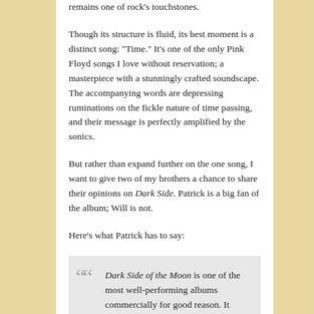remains one of rock's touchstones.
Though its structure is fluid, its best moment is a distinct song: “Time.” It’s one of the only Pink Floyd songs I love without reservation; a masterpiece with a stunningly crafted soundscape. The accompanying words are depressing ruminations on the fickle nature of time passing, and their message is perfectly amplified by the sonics.
But rather than expand further on the one song, I want to give two of my brothers a chance to share their opinions on Dark Side. Patrick is a big fan of the album; Will is not.
Here’s what Patrick has to say:
Dark Side of the Moon is one of the most well-performing albums commercially for good reason. It takes a different approach to music than is